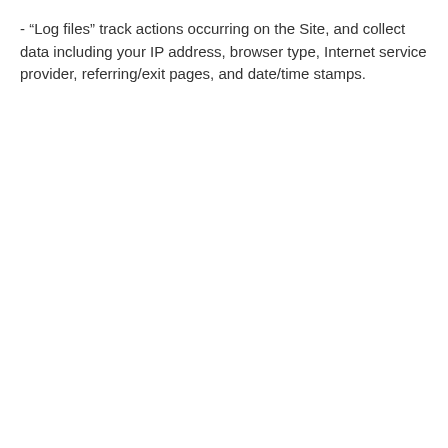- “Log files” track actions occurring on the Site, and collect data including your IP address, browser type, Internet service provider, referring/exit pages, and date/time stamps.